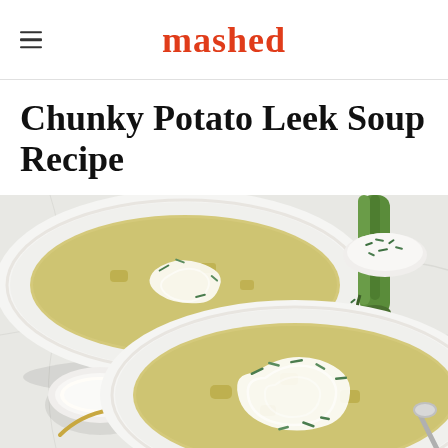mashed
Chunky Potato Leek Soup Recipe
[Figure (photo): Two white bowls of chunky potato leek soup garnished with cream swirls and chopped chives, on a marble surface. A leek, a small bowl of cream, a gold spoon, a small dish of chopped chives, and a silver spoon are also visible in the scene.]